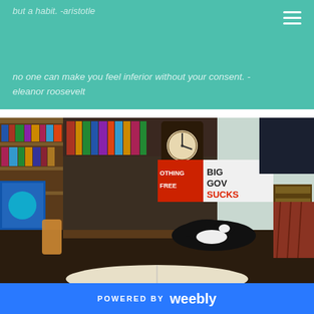but a habit. -aristotle
no one can make you feel inferior without your consent. - eleanor roosevelt
[Figure (photo): Indoor room scene with bookshelves, a wall clock, a black and white cat lying on a surface, signs reading 'NOTHING FREE' and 'BIG GOV SUCKS', an open book in the foreground, and various room furnishings.]
[Figure (photo): Black and white historical photo showing a figure on horseback with large triangular/wing-like structures.]
POWERED BY weebly